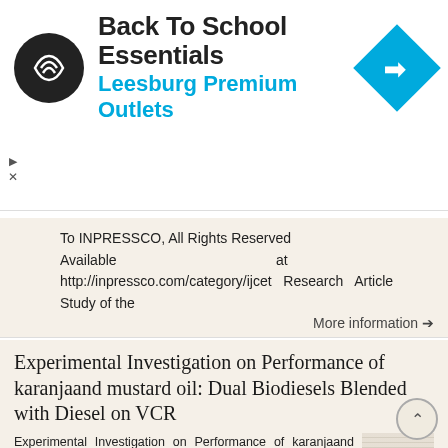[Figure (infographic): Advertisement banner: Back To School Essentials – Leesburg Premium Outlets, with circular logo and blue diamond navigation icon]
To INPRESSCO, All Rights Reserved Available at http://inpressco.com/category/ijcet Research Article Study of the
More information →
Experimental Investigation on Performance of karanjaand mustard oil: Dual Biodiesels Blended with Diesel on VCR
Experimental Investigation on Performance of karanjaand mustard oil: Dual Biodiesels Blended with Diesel on VCR Diesel engine Umesh Chandra Pandey 1, Tarun Soota 1 1 Department of Mechanical Engineering,